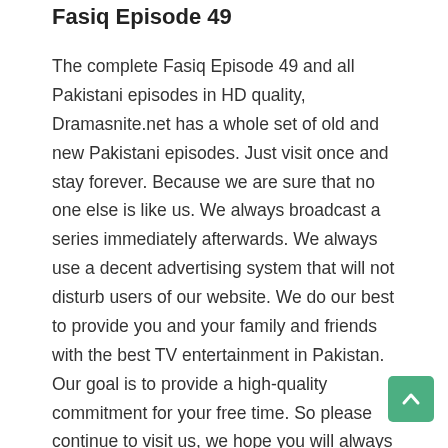Fasiq Episode 49
The complete Fasiq Episode 49 and all Pakistani episodes in HD quality, Dramasnite.net has a whole set of old and new Pakistani episodes. Just visit once and stay forever. Because we are sure that no one else is like us. We always broadcast a series immediately afterwards. We always use a decent advertising system that will not disturb users of our website. We do our best to provide you and your family and friends with the best TV entertainment in Pakistan. Our goal is to provide a high-quality commitment for your free time. So please continue to visit us, we hope you will always enjoy spending your free time here. We work hard to make it possible.